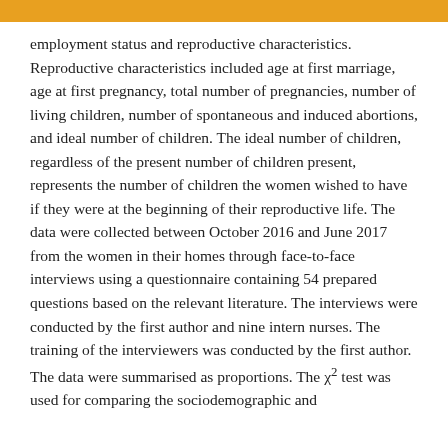employment status and reproductive characteristics. Reproductive characteristics included age at first marriage, age at first pregnancy, total number of pregnancies, number of living children, number of spontaneous and induced abortions, and ideal number of children. The ideal number of children, regardless of the present number of children present, represents the number of children the women wished to have if they were at the beginning of their reproductive life. The data were collected between October 2016 and June 2017 from the women in their homes through face-to-face interviews using a questionnaire containing 54 prepared questions based on the relevant literature. The interviews were conducted by the first author and nine intern nurses. The training of the interviewers was conducted by the first author.
The data were summarised as proportions. The χ² test was used for comparing the sociodemographic and